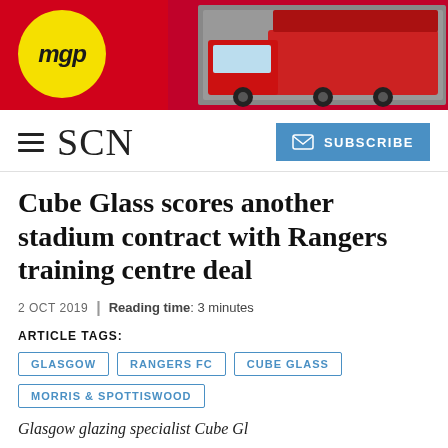[Figure (photo): MGP banner advertisement with red background, yellow circle MGP logo on left, and red truck on right]
SCN  |  SUBSCRIBE
Cube Glass scores another stadium contract with Rangers training centre deal
2 OCT 2019  |  Reading time: 3 minutes
ARTICLE TAGS:
GLASGOW
RANGERS FC
CUBE GLASS
MORRIS & SPOTTISWOOD
Glasgow glazing specialist Cube Gl…